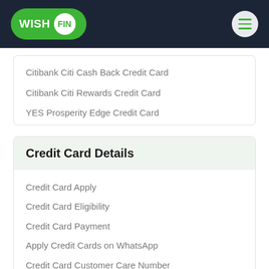[Figure (logo): WishFin logo on dark header with hamburger menu icon]
Citibank Citi Cash Back Credit Card
Citibank Citi Rewards Credit Card
YES Prosperity Edge Credit Card
Credit Card Details
Credit Card Apply
Credit Card Eligibility
Credit Card Payment
Apply Credit Cards on WhatsApp
Credit Card Customer Care Number
Minimum CIBIL Score for Credit Cards